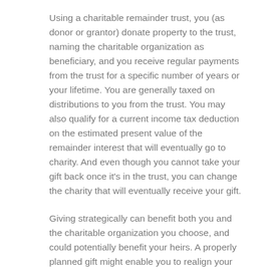Using a charitable remainder trust, you (as donor or grantor) donate property to the trust, naming the charitable organization as beneficiary, and you receive regular payments from the trust for a specific number of years or your lifetime. You are generally taxed on distributions to you from the trust. You may also qualify for a current income tax deduction on the estimated present value of the remainder interest that will eventually go to charity. And even though you cannot take your gift back once it's in the trust, you can change the charity that will eventually receive your gift.
Giving strategically can benefit both you and the charitable organization you choose, and could potentially benefit your heirs. A properly planned gift might enable you to realign your investment portfolio, help diversify your holdings, increase your cash flow — and help leave a greater legacy.
Whatever gifting strategy you choose, planned